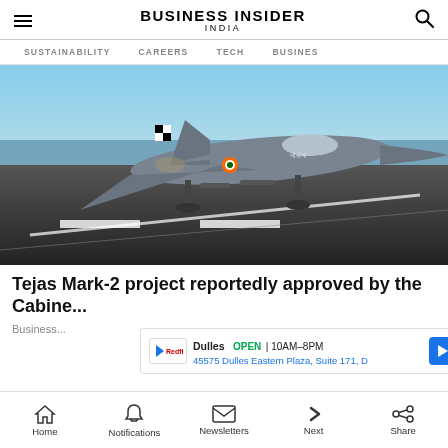BUSINESS INSIDER INDIA
SUSTAINABILITY  CAREERS  TECH  BUSINESS
[Figure (photo): Indian military fighter jet (Tejas) on an aircraft carrier deck runway, side view showing landing gear, with ocean and sky in background.]
Tejas Mark-2 project reportedly approved by the Cabinet C...
Business...
[Figure (other): Advertisement banner: Dulles OPEN 10AM-8PM, 45575 Dulles Eastern Plaza, Suite 171, D — with navigation arrow icon]
Home  Notifications  Newsletters  Next  Share